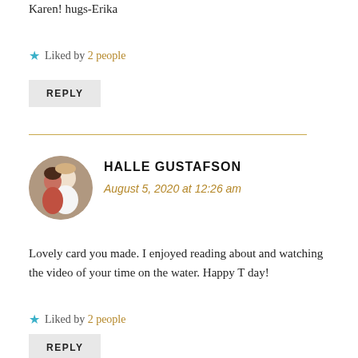Karen! hugs-Erika
★ Liked by 2 people
REPLY
HALLE GUSTAFSON
August 5, 2020 at 12:26 am
[Figure (photo): Circular avatar photo of Halle Gustafson showing two people posing together]
Lovely card you made. I enjoyed reading about and watching the video of your time on the water. Happy T day!
★ Liked by 2 people
REPLY